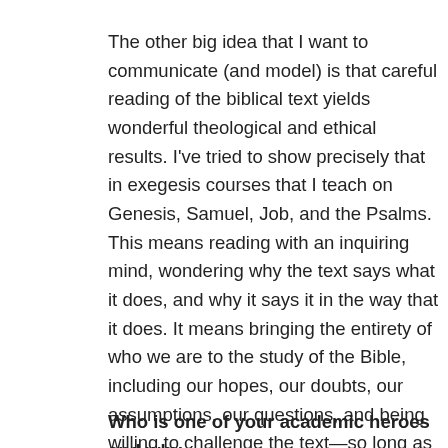The other big idea that I want to communicate (and model) is that careful reading of the biblical text yields wonderful theological and ethical results. I've tried to show precisely that in exegesis courses that I teach on Genesis, Samuel, Job, and the Psalms. This means reading with an inquiring mind, wondering why the text says what it does, and why it says it in the way that it does. It means bringing the entirety of who we are to the study of the Bible, including our hopes, our doubts, our assumptions, our questions, and being willing to challenge the text—so long as we are willing to be challenged in response. The Bible is not a safe book; it can radically change us.
Who is one of your academic heroes and why